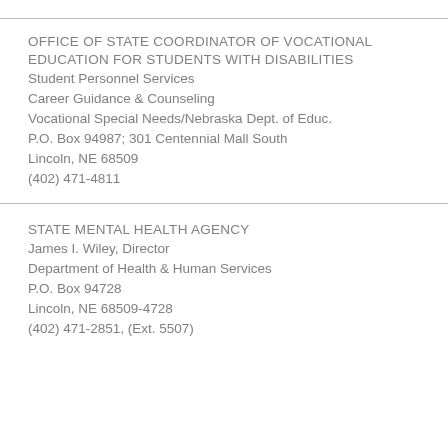OFFICE OF STATE COORDINATOR OF VOCATIONAL EDUCATION FOR STUDENTS WITH DISABILITIES
Student Personnel Services
Career Guidance & Counseling
Vocational Special Needs/Nebraska Dept. of Educ.
P.O. Box 94987; 301 Centennial Mall South
Lincoln, NE 68509
(402) 471-4811
STATE MENTAL HEALTH AGENCY
James I. Wiley, Director
Department of Health & Human Services
P.O. Box 94728
Lincoln, NE 68509-4728
(402) 471-2851, (Ext. 5507)